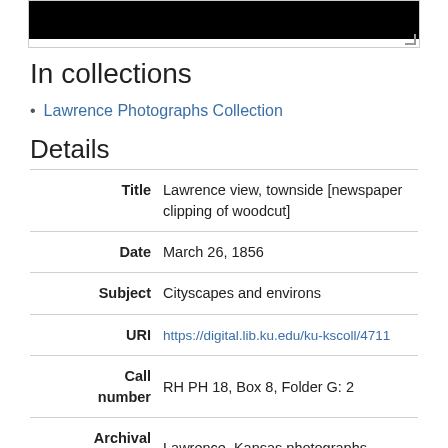[Figure (photo): Black image placeholder at top of page, partially visible, with resize handle]
In collections
Lawrence Photographs Collection
Details
| Field | Value |
| --- | --- |
| Title | Lawrence view, townside [newspaper clipping of woodcut] |
| Date | March 26, 1856 |
| Subject | Cityscapes and environs |
| URI | https://digital.lib.ku.edu/ku-kscoll/4711 |
| Call number | RH PH 18, Box 8, Folder G: 2 |
| Archival collection title | Lawrence, Kansas photographs collection |